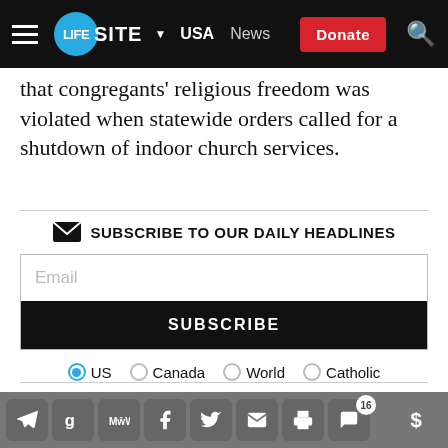LIFESITE ▾ USA News Donate
that congregants' religious freedom was violated when statewide orders called for a shutdown of indoor church services.
[Figure (infographic): Subscribe to our daily headlines section with email input, subscribe button, and radio buttons for US, Canada, World, Catholic]
In February 2021, the U.S. Supreme Court ruled
Share bar with Telegram, Google, MeWe, Facebook, Twitter, Email, Print, Comments (16), Donate icons